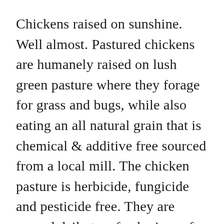Chickens raised on sunshine. Well almost. Pastured chickens are humanely raised on lush green pasture where they forage for grass and bugs, while also eating an all natural grain that is chemical & additive free sourced from a local mill. The chicken pasture is herbicide, fungicide and pesticide free. They are moved daily to a fresh piece of pasture (sometimes twice a day) , this ensures that bacteria, germs and diseases are kept in check and their natural food isn't